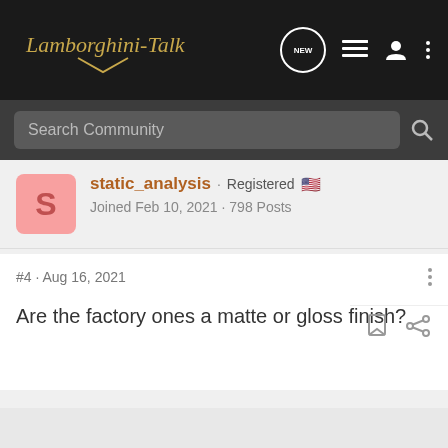Lamborghini-Talk
Search Community
static_analysis · Registered 🇺🇸
Joined Feb 10, 2021 · 798 Posts
#4 · Aug 16, 2021
Are the factory ones a matte or gloss finish?